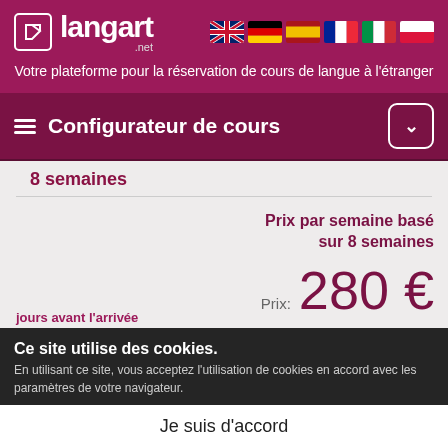langart .net
Votre plateforme pour la réservation de cours de langue à l'étranger
Configurateur de cours
8 semaines
Prix par semaine basé sur 8 semaines
Prix: 280 €
Ce site utilise des cookies. En utilisant ce site, vous acceptez l'utilisation de cookies en accord avec les paramètres de votre navigateur.
Je suis d'accord